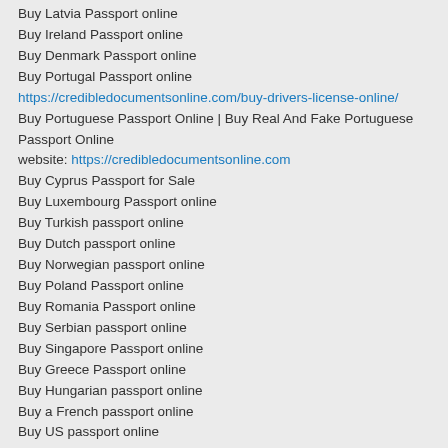Buy Latvia Passport online
Buy Ireland Passport online
Buy Denmark Passport online
Buy Portugal Passport online
https://credibledocumentsonline.com/buy-drivers-license-online/
Buy Portuguese Passport Online | Buy Real And Fake Portuguese Passport Online
website: https://credibledocumentsonline.com
Buy Cyprus Passport for Sale
Buy Luxembourg Passport online
Buy Turkish passport online
Buy Dutch passport online
Buy Norwegian passport online
Buy Poland Passport online
Buy Romania Passport online
Buy Serbian passport online
Buy Singapore Passport online
Buy Greece Passport online
Buy Hungarian passport online
Buy a French passport online
Buy US passport online
Buy Romanian passport online
Buy Slovenian passport online
Buy Slovak passport online
Buy Spanish passport online
Buy a Swiss passport online
Buy Thailand Passport online
Buy Chile Passport online
Buy Croatian passport online
Buy Canadian passport online